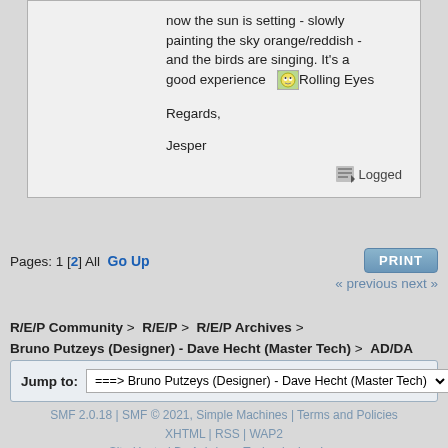now the sun is setting - slowly painting the sky orange/reddish - and the birds are singing. It's a good experience [Rolling Eyes]

Regards,

Jesper
Logged
Pages: 1 [2] All  Go Up
« previous next »
R/E/P Community > R/E/P > R/E/P Archives > Bruno Putzeys (Designer) - Dave Hecht (Master Tech) > AD/DA converters question
Jump to: ===> Bruno Putzeys (Designer) - Dave Hecht (Master Tech) ∨  go
SMF 2.0.18 | SMF © 2021, Simple Machines | Terms and Policies
XHTML | RSS | WAP2
Site Hosted By Ashdown Technologies, Inc.
Page created in 0.113 seconds with 21 queries.